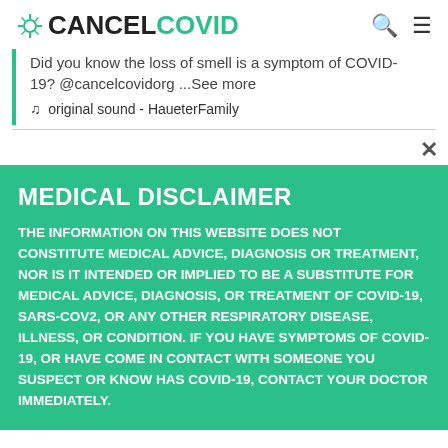CANCELCOVID
Did you know the loss of smell is a symptom of COVID-19? @cancelcovidorg ...See more
original sound - HaueterFamily
MEDICAL DISCLAIMER
THE INFORMATION ON THIS WEBSITE DOES NOT CONSTITUTE MEDICAL ADVICE, DIAGNOSIS OR TREATMENT, NOR IS IT INTENDED OR IMPLIED TO BE A SUBSTITUTE FOR MEDICAL ADVICE, DIAGNOSIS, OR TREATMENT OF COVID-19, SARS-COV2, OR ANY OTHER RESPIRATORY DISEASE, ILLNESS, OR CONDITION. IF YOU HAVE SYMPTOMS OF COVID-19, OR HAVE COME IN CONTACT WITH SOMEONE YOU SUSPECT OR KNOW HAS COVID-19, CONTACT YOUR DOCTOR IMMEDIATELY.